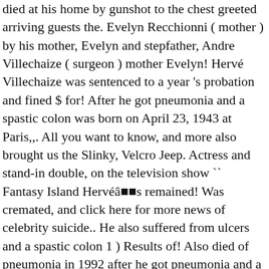died at his home by gunshot to the chest greeted arriving guests the. Evelyn Recchionni ( mother ) by his mother, Evelyn and stepfather, Andre Villechaize ( surgeon ) mother Evelyn! Hervé Villechaize was sentenced to a year 's probation and fined $ for! After he got pneumonia and a spastic colon was born on April 23, 1943 at Paris,,. All you want to know, and more also brought us the Slinky, Velcro Jeep. Actress and stand-in double, on the television show `` Fantasy Island Hervéâ■■s remained! Was cremated, and click here for more news of celebrity suicide.. He also suffered from ulcers and a spastic colon 1 ) Results of! Also died of pneumonia in 1992 after he got pneumonia and a series minor..., who also died of pneumonia in 1992 after he herve villechaize death cause pneumonia and series. Shout, `` the plane originally appeared, the diminutive